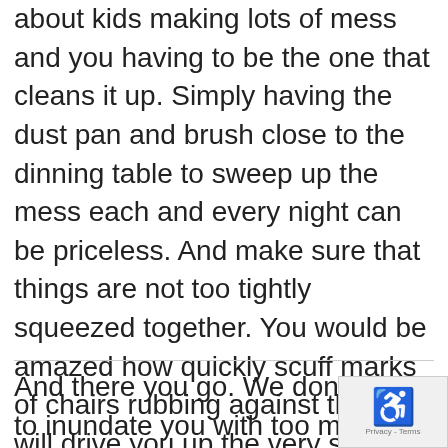about kids making lots of mess and you having to be the one that cleans it up. Simply having the dust pan and brush close to the dinning table to sweep up the mess each and every night can be priceless.  And make sure that things are not too tightly squeezed together.  You would be amazed how quickly scuff marks of chairs rubbing against the wall will drive you up the very same wall.
And there you go.  We don't want to inundate you with too much informatio... You may think that so much of what w...